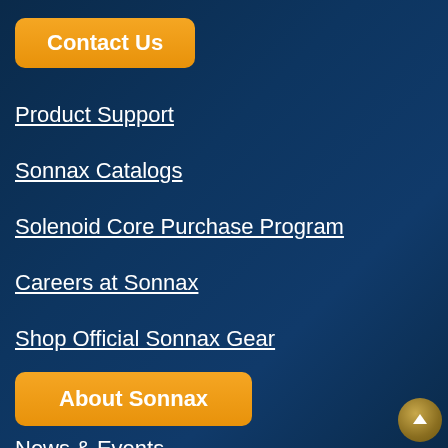Contact Us
Product Support
Sonnax Catalogs
Solenoid Core Purchase Program
Careers at Sonnax
Shop Official Sonnax Gear
About Sonnax
News & Events
Terms & Conditions
Warranty
Privacy Policy